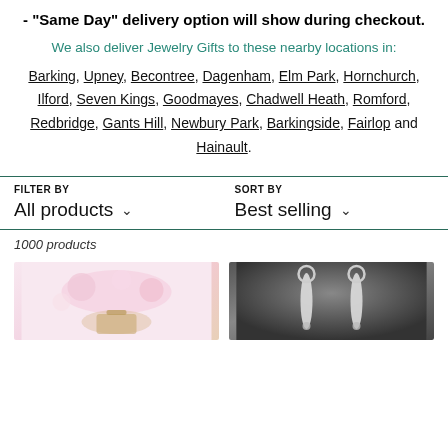- "Same Day" delivery option will show during checkout.
We also deliver Jewelry Gifts to these nearby locations in:
Barking, Upney, Becontree, Dagenham, Elm Park, Hornchurch, Ilford, Seven Kings, Goodmayes, Chadwell Heath, Romford, Redbridge, Gants Hill, Newbury Park, Barkingside, Fairlop and Hainault.
FILTER BY
All products
SORT BY
Best selling
1000 products
[Figure (photo): Product photo of jewelry with flowers in background]
[Figure (photo): Product photo of silver earrings on dark background]